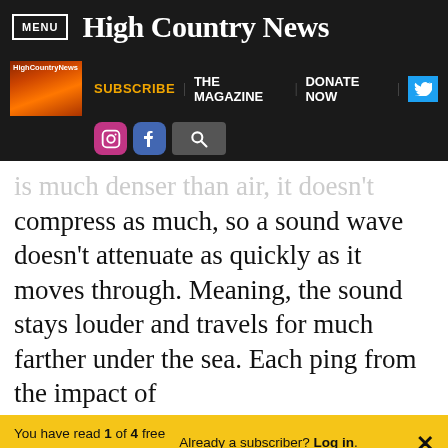MENU | High Country News
SUBSCRIBE | THE MAGAZINE | DONATE NOW
is much denser than air, it doesn't compress as much, so a sound wave doesn't attenuate as quickly as it moves through. Meaning, the sound stays louder and travels for much farther under the sea. Each ping from the impact of
You have read 1 of 4 free articles this month. Already a subscriber? Log in.
Support independent journalism. Subscribe